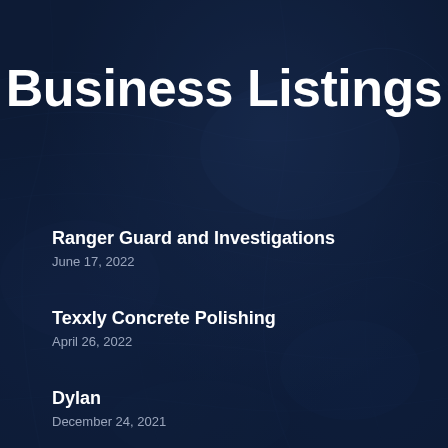Business Listings
Ranger Guard and Investigations
June 17, 2022
Texxly Concrete Polishing
April 26, 2022
Dylan
December 24, 2021